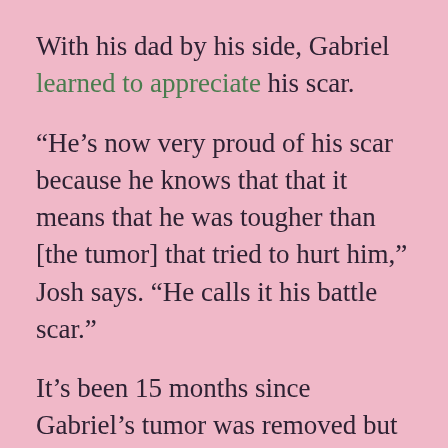With his dad by his side, Gabriel learned to appreciate his scar.
“He’s now very proud of his scar because he knows that that it means that he was tougher than [the tumor] that tried to hurt him,” Josh says. “He calls it his battle scar.”
It’s been 15 months since Gabriel’s tumor was removed but doctors are monitoring